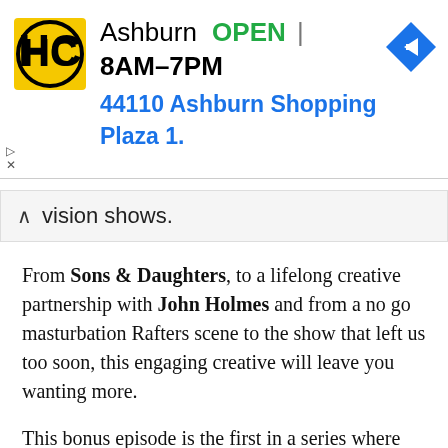[Figure (other): Advertisement banner for Ashburn Hardware store showing logo, OPEN status, hours 8AM-7PM, address 44110 Ashburn Shopping Plaza 1., and navigation arrow icon]
vision shows.
From Sons & Daughters, to a lifelong creative partnership with John Holmes and from a no go masturbation Rafters scene to the show that left us too soon, this engaging creative will leave you wanting more.
This bonus episode is the first in a series where we chat to the makers, movers and shakers of the Australian television landscape.
Thank you to Bevan Lee and the publicity team